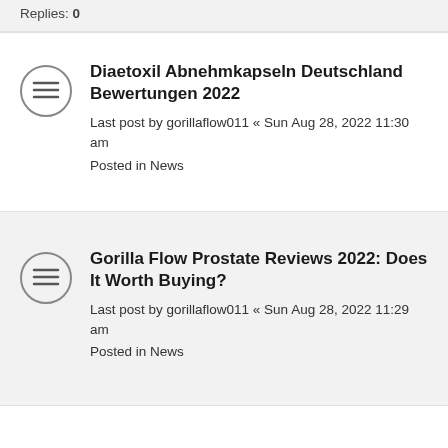Replies: 0
Diaetoxil Abnehmkapseln Deutschland Bewertungen 2022
Last post by gorillaflow011 « Sun Aug 28, 2022 11:30 am
Posted in News
Gorilla Flow Prostate Reviews 2022: Does It Worth Buying?
Last post by gorillaflow011 « Sun Aug 28, 2022 11:29 am
Posted in News